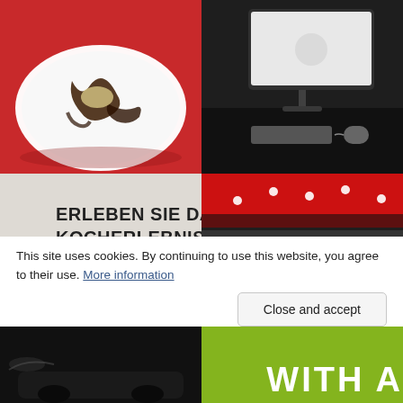[Figure (photo): Dessert plate with chocolate drizzle on a red background, partially eaten]
[Figure (photo): Black and white photo of an Apple iMac computer with keyboard and mouse on a dark surface]
[Figure (photo): Trade show booth with text 'ERLEBEN SIE DAS KOCHERLEBNIS' and 'EXPERIENCE PERFECT STEAM CO...' with two women looking down]
[Figure (photo): Trade show exhibition hall with red decor, AEG branding, people standing and talking]
This site uses cookies. By continuing to use this website, you agree to their use. More information
Close and accept
[Figure (photo): Dark photo, partial view of a car or dark object]
[Figure (photo): Photo with green/yellow-toned background and text 'WITH A' visible]